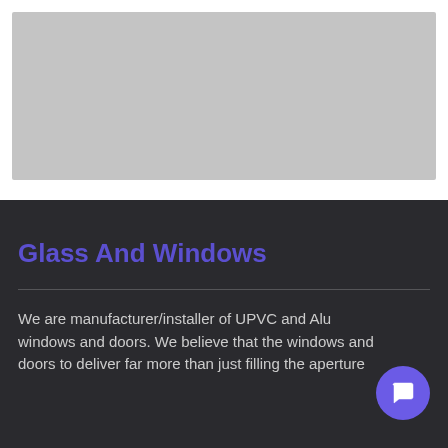[Figure (photo): Gray placeholder image rectangle in the top white section of the page]
Glass And Windows
We are manufacturer/installer of UPVC and Alu windows and doors. We believe that the windows and doors to deliver far more than just filling the aperture